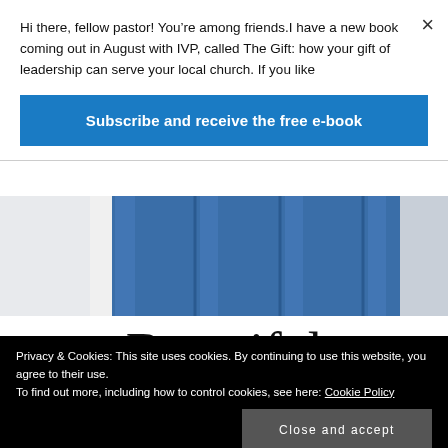Hi there, fellow pastor! You’re among friends.I have a new book coming out in August with IVP, called The Gift: how your gift of leadership can serve your local church. If you like
Subscribe and receive the free e-book
[Figure (photo): Partial view of a building with blue metallic corrugated facade and white elements]
Beautiful
Privacy & Cookies: This site uses cookies. By continuing to use this website, you agree to their use.
To find out more, including how to control cookies, see here: Cookie Policy
Close and accept
found, and the found built up? Do you